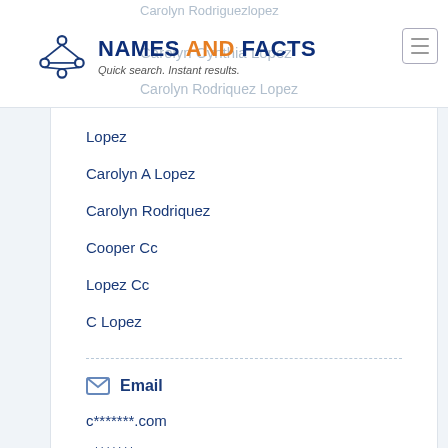NAMES AND FACTS — Quick search. Instant results.
Lopez
Carolyn A Lopez
Carolyn Rodriquez
Cooper Cc
Lopez Cc
C Lopez
Email
c*******.com
c*******.com
l*******.com